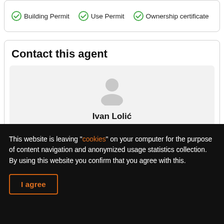Building Permit  Use Permit  Ownership certificate
Contact this agent
[Figure (other): Agent profile card with a grey placeholder person icon, agent name 'Ivan Lolić', a grey phone icon, and phone number '+385 95 353 6359' on a light grey background.]
This website is leaving "cookies" on your computer for the purpose of content navigation and anonymized usage statistics collection. By using this website you confirm that you agree with this.
I agree